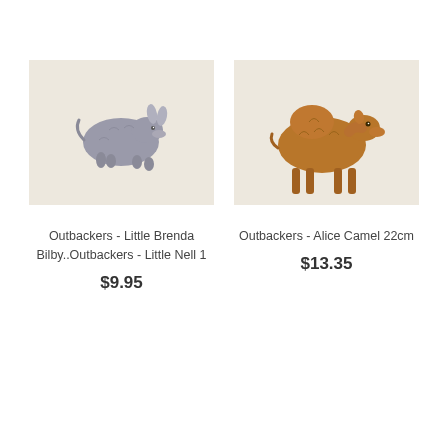[Figure (photo): Small grey bilby stuffed animal toy on a beige/cream background]
Outbackers - Little Brenda Bilby..Outbackers - Little Nell 1
$9.95
[Figure (photo): Brown camel stuffed animal toy standing on a beige/cream background]
Outbackers - Alice Camel 22cm
$13.35